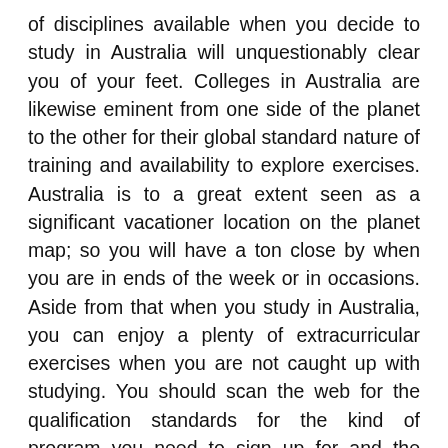of disciplines available when you decide to study in Australia will unquestionably clear you of your feet. Colleges in Australia are likewise eminent from one side of the planet to the other for their global standard nature of training and availability to explore exercises. Australia is to a great extent seen as a significant vacationer location on the planet map; so you will have a ton close by when you are in ends of the week or in occasions. Aside from that when you study in Australia, you can enjoy a plenty of extracurricular exercises when you are not caught up with studying. You should scan the web for the qualification standards for the kind of program you need to sign up for and the convenience options available so you do not baffle yourself when you land there. At the point when it boils down to the first class Day one Intercâmbios colleges in Australia, a portion of the names which stand apart from